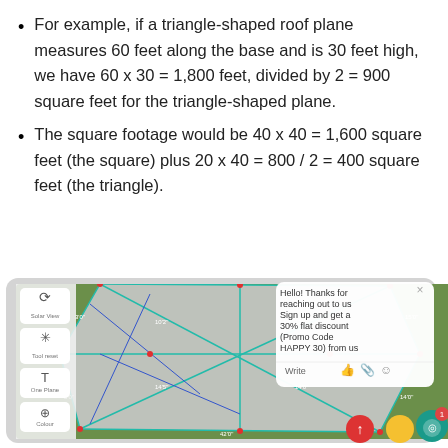For example, if a triangle-shaped roof plane measures 60 feet along the base and is 30 feet high, we have 60 x 30 = 1,800 feet, divided by 2 = 900 square feet for the triangle-shaped plane.
The square footage would be 40 x 40 = 1,600 square feet (the square) plus 20 x 40 = 800 / 2 = 400 square feet (the triangle).
[Figure (screenshot): Screenshot of a roofing measurement software showing an aerial view of a house roof with measurement lines and labels overlaid. A chat popup on the right reads: Hello! Thanks for reaching out to us Sign up and get a 30% flat discount (Promo Code HAPPY 30) from us. Below the popup is a Write input area with icons.]